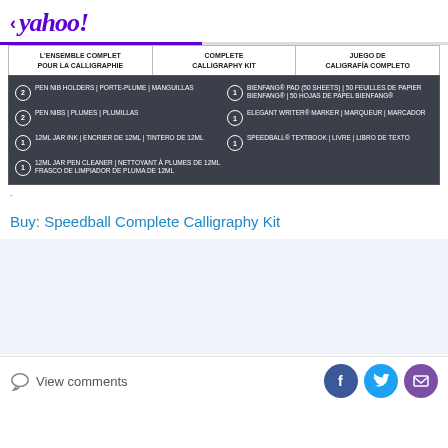< yahoo!
[Figure (photo): Speedball Complete Calligraphy Kit product label listing contents in French, English, and Spanish. Dark background with white text listing: 2 Pen Nib Holders, 2 Pen Nibs, 1 12ml Jar Ink, 1 12ml Jar Pen Cleaner, 1 Bienfang Pad (50 sheets), 1 Elegant Writer Marker, 1 Speedball Textbook.]
.
Buy: Speedball Complete Calligraphy Kit
View comments